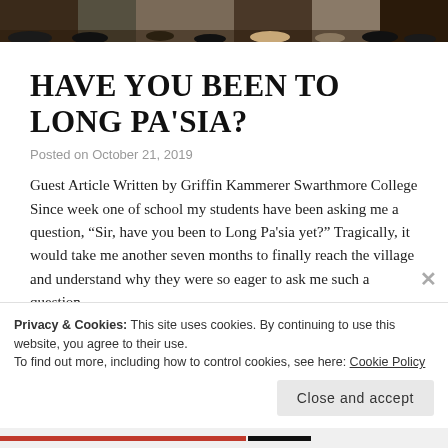[Figure (photo): Top portion of a group photo showing people's lower bodies, shoes and feet on a ground surface.]
HAVE YOU BEEN TO LONG PA'SIA?
Posted on October 21, 2019
Guest Article Written by Griffin Kammerer Swarthmore College Since week one of school my students have been asking me a question, “Sir, have you been to Long Pa'sia yet?” Tragically, it would take me another seven months to finally reach the village and understand why they were so eager to ask me such a question. ...
Privacy & Cookies: This site uses cookies. By continuing to use this website, you agree to their use.
To find out more, including how to control cookies, see here: Cookie Policy
Close and accept